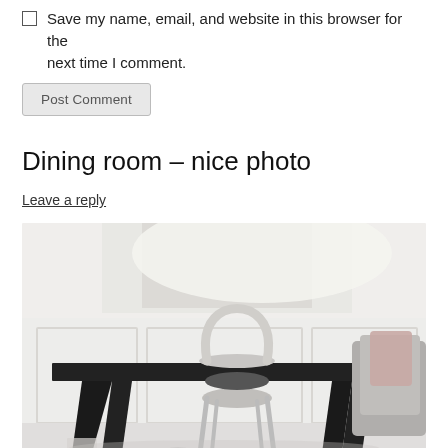Save my name, email, and website in this browser for the next time I comment.
Post Comment
Dining room – nice photo
Leave a reply
[Figure (photo): Interior dining room photo showing a black table with chairs including a white bentwood chair and a grey upholstered chair, against white paneled walls with a large window letting in bright light.]